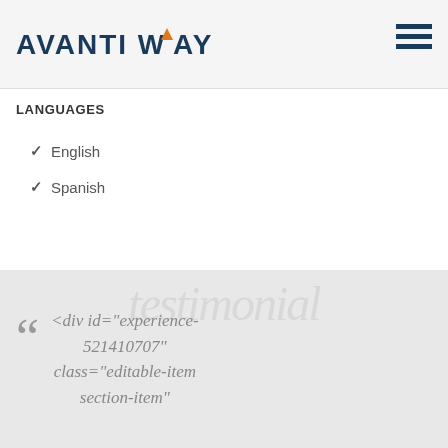AVANTI WAY
LANGUAGES
✓ English
✓ Spanish
<div id="experience-521410707" class="editable-item section-item"